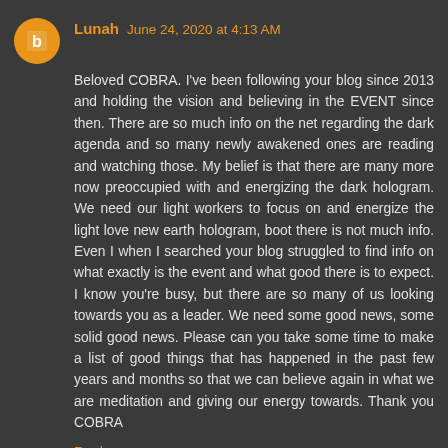Lunah June 24, 2020 at 4:13 AM
Beloved COBRA. I've been following your blog since 2013 and holding the vision and believing in the EVENT since then. There are so much info on the net regarding the dark agenda and so many newly awakened ones are reading and watching those. My belief is that there are many more now preoccupied with and energizing the dark hologram. We need our light workers to focus on and energize the light love new earth hologram, boot there is not much info. Even I when I searched your blog struggled to find info on what exactly is the event and what good there is to expect. I know you're busy, but there are so many of us looking towards you as a leader. We need some good news, some solid good news. Please can you take some time to make a list of good things that has happened in the past few years and months so that we can believe again in what we are meditation and giving our energy towards. Thank you COBRA
Reply
Replies